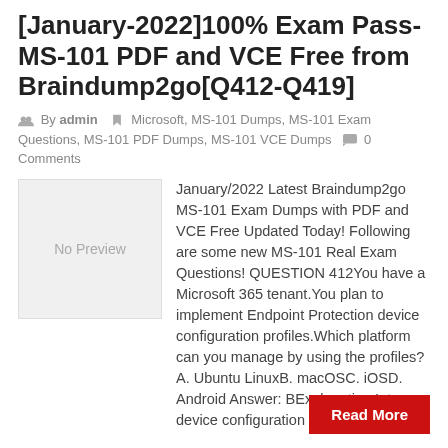[January-2022]100% Exam Pass-MS-101 PDF and VCE Free from Braindump2go[Q412-Q419]
By admin  Microsoft, MS-101 Dumps, MS-101 Exam Questions, MS-101 PDF Dumps, MS-101 VCE Dumps  0 Comments
[Figure (other): No Preview placeholder image box]
January/2022 Latest Braindump2go MS-101 Exam Dumps with PDF and VCE Free Updated Today! Following are some new MS-101 Real Exam Questions! QUESTION 412You have a Microsoft 365 tenant.You plan to implement Endpoint Protection device configuration profiles.Which platform can you manage by using the profiles? A. Ubuntu LinuxB. macOSC. iOSD. Android Answer: BExplanation:Intune device configuration profiles